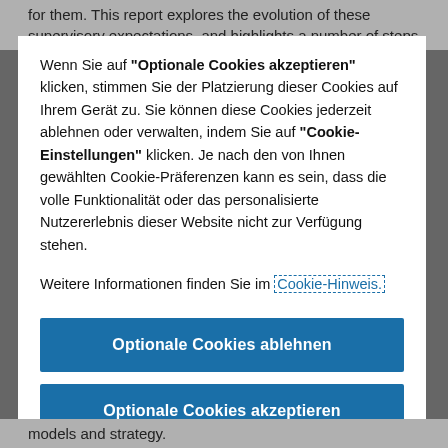for them. This report explores the evolution of these supervisory expectations, and highlights a number of steps
Wenn Sie auf "Optionale Cookies akzeptieren" klicken, stimmen Sie der Platzierung dieser Cookies auf Ihrem Gerät zu. Sie können diese Cookies jederzeit ablehnen oder verwalten, indem Sie auf "Cookie-Einstellungen" klicken. Je nach den von Ihnen gewählten Cookie-Präferenzen kann es sein, dass die volle Funktionalität oder das personalisierte Nutzererlebnis dieser Website nicht zur Verfügung stehen.
Weitere Informationen finden Sie im Cookie-Hinweis.
Optionale Cookies ablehnen
Optionale Cookies akzeptieren
Cookie-Einstellungen
models and strategy.